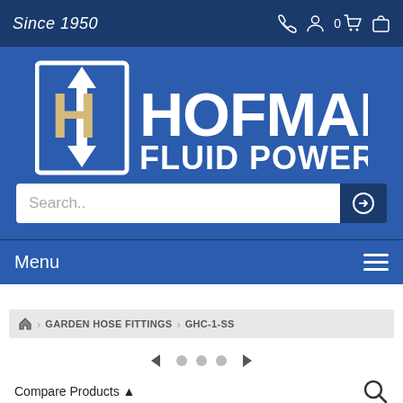Since 1950
[Figure (logo): Hofmann Fluid Power, Inc. logo with stylized H icon showing up and down arrows on blue background]
[Figure (screenshot): Search input bar with placeholder text 'Search..' and a blue search button with right arrow icon]
Menu
GARDEN HOSE FITTINGS > GHC-1-SS
Compare Products